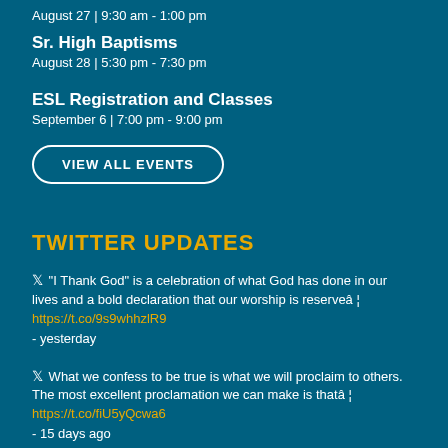August 27 | 9:30 am - 1:00 pm
Sr. High Baptisms
August 28 | 5:30 pm - 7:30 pm
ESL Registration and Classes
September 6 | 7:00 pm - 9:00 pm
VIEW ALL EVENTS
TWITTER UPDATES
"I Thank God" is a celebration of what God has done in our lives and a bold declaration that our worship is reserveâ¦ https://t.co/9s9whhzlR9 - yesterday
What we confess to be true is what we will proclaim to others. The most excellent proclamation we can make is thatâ¦ https://t.co/fiU5yQcwa6 - 15 days ago